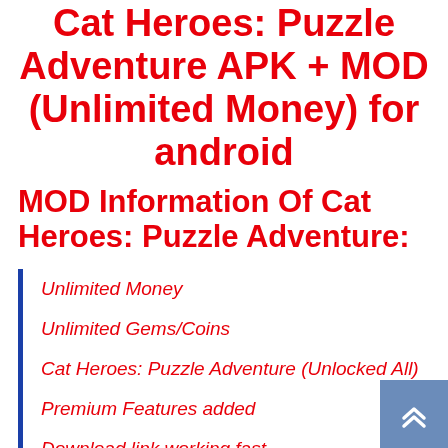Cat Heroes: Puzzle Adventure APK + MOD (Unlimited Money) for android
MOD Information Of Cat Heroes: Puzzle Adventure:
Unlimited Money
Unlimited Gems/Coins
Cat Heroes: Puzzle Adventure (Unlocked All)
Premium Features added
Download link working fast